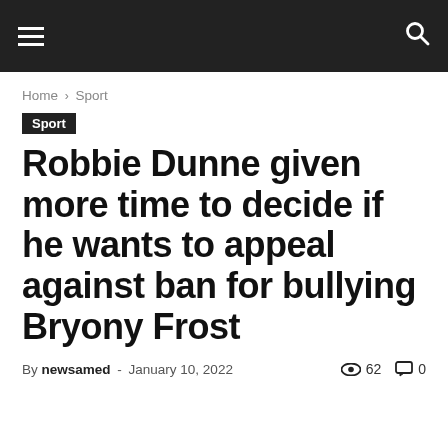Navigation bar with hamburger menu and search icon
Home › Sport
Sport
Robbie Dunne given more time to decide if he wants to appeal against ban for bullying Bryony Frost
By newsamed - January 10, 2022  62  0